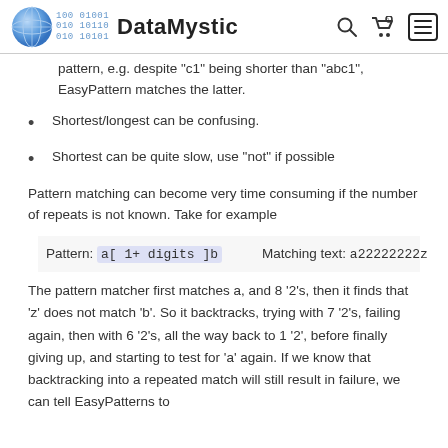DataMystic
pattern, e.g. despite "c1" being shorter than "abc1", EasyPattern matches the latter.
Shortest/longest can be confusing.
Shortest can be quite slow, use "not" if possible
Pattern matching can become very time consuming if the number of repeats is not known. Take for example
Pattern: a[ 1+ digits ]b     Matching text: a22222222z
The pattern matcher first matches a, and 8 '2's, then it finds that 'z' does not match 'b'. So it backtracks, trying with 7 '2's, failing again, then with 6 '2's, all the way back to 1 '2', before finally giving up, and starting to test for 'a' again. If we know that backtracking into a repeated match will still result in failure, we can tell EasyPatterns to